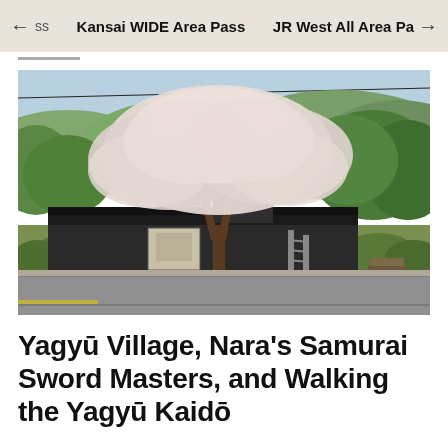← ss    Kansai WIDE Area Pass    JR West All Area Pa →
[Figure (photo): A Japanese village building with cherry blossom tree (sakura) in full bloom in front. A large traditional-style structure with dark roof surrounded by lush green trees on a hillside. A road runs in front with a sign board visible.]
Yagyū Village, Nara's Samurai Sword Masters, and Walking the Yagyū Kaidō